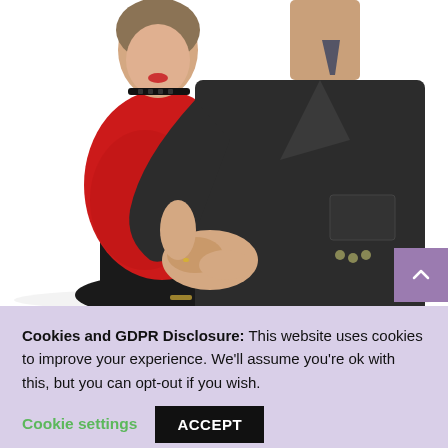[Figure (photo): Two older adults embracing and dancing. The woman on the left wears a red blazer and black skirt; the man on the right wears a dark charcoal suit. They are holding hands and the man's arm is around the woman.]
Cookies and GDPR Disclosure: This website uses cookies to improve your experience. We'll assume you're ok with this, but you can opt-out if you wish. Cookie settings ACCEPT